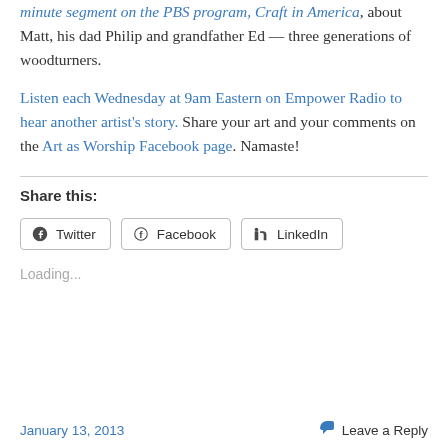minute segment on the PBS program, Craft in America, about Matt, his dad Philip and grandfather Ed — three generations of woodturners.
Listen each Wednesday at 9am Eastern on Empower Radio to hear another artist's story. Share your art and your comments on the Art as Worship Facebook page. Namaste!
Share this:
Loading...
January 13, 2013   Leave a Reply